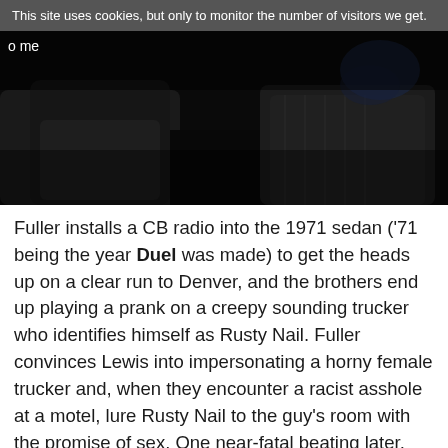This site uses cookies, but only to monitor the number of visitors we get.
[Figure (photo): Dark interior photograph of a car cabin with leather seats, partially visible figure in background. Text 'o me' visible in top-left corner.]
Fuller installs a CB radio into the 1971 sedan ('71 being the year Duel was made) to get the heads up on a clear run to Denver, and the brothers end up playing a prank on a creepy sounding trucker who identifies himself as Rusty Nail. Fuller convinces Lewis into impersonating a horny female trucker and, when they encounter a racist asshole at a motel, lure Rusty Nail to the guy's room with the promise of sex. One near-fatal beating later, the brothers confess to the cops their prank and are told to get going.